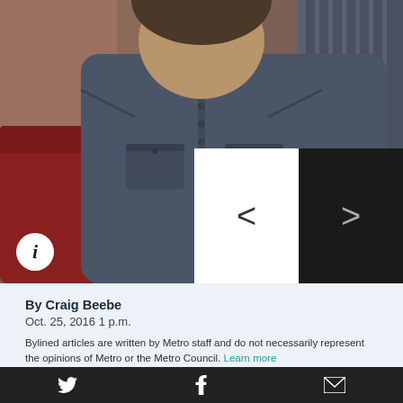[Figure (photo): Person wearing a dark grey/blue button-up shirt, photographed indoors. Navigation arrows visible on right side with white and dark panels.]
By Craig Beebe
Oct. 25, 2016 1 p.m.
Bylined articles are written by Metro staff and do not necessarily represent the opinions of Metro or the Metro Council. Learn more
The fight for affordability has many fronts. Here are some of its leaders.
Talk with advocates for affordable housing for even a